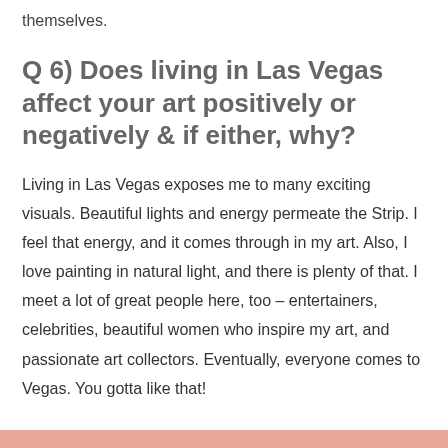themselves.
Q 6) Does living in Las Vegas affect your art positively or negatively & if either, why?
Living in Las Vegas exposes me to many exciting visuals. Beautiful lights and energy permeate the Strip. I feel that energy, and it comes through in my art. Also, I love painting in natural light, and there is plenty of that. I meet a lot of great people here, too – entertainers, celebrities, beautiful women who inspire my art, and passionate art collectors. Eventually, everyone comes to Vegas. You gotta like that!